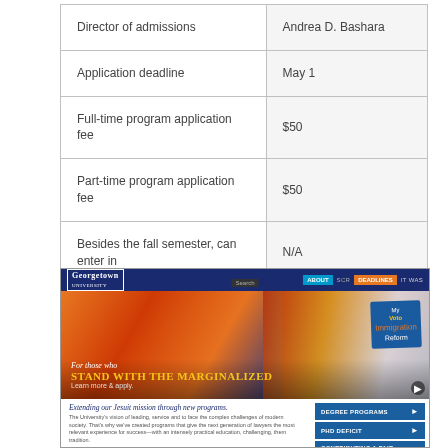| Director of admissions | Andrea D. Bashara |
| Application deadline | May 1 |
| Full-time program application fee | $50 |
| Part-time program application fee | $50 |
| Besides the fall semester, can enter in | N/A |
[Figure (screenshot): Screenshot of a university website (Georgetown University) showing a navigation bar, a hero image of people at a rally holding a large flag, with text 'For those who STAND WITH THE MARGINALIZED. Learn more & apply.' and a bottom section reading 'Extending our Jesuit mission through new programs.' with sidebar buttons for Degree Programs, PhD Deficit, and more.]